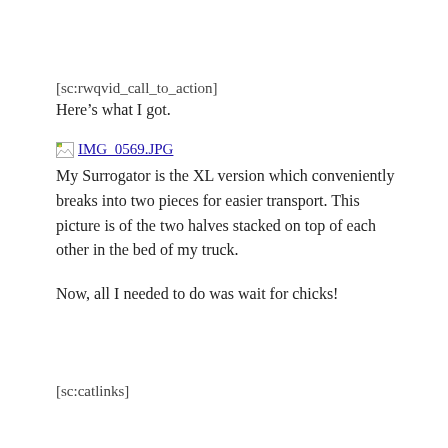[sc:rwqvid_call_to_action]
Here’s what I got.
[Figure (photo): Broken image placeholder icon labeled IMG_0569.JPG]
IMG_0569.JPG
My Surrogator is the XL version which conveniently breaks into two pieces for easier transport. This picture is of the two halves stacked on top of each other in the bed of my truck.
Now, all I needed to do was wait for chicks!
[sc:catlinks]